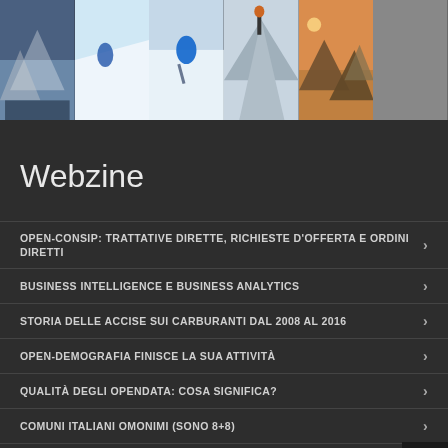[Figure (photo): Row of mountain/skiing outdoor photos at top of page]
Webzine
OPEN-CONSIP: TRATTATIVE DIRETTE, RICHIESTE D'OFFERTA E ORDINI DIRETTI
BUSINESS INTELLIGENCE E BUSINESS ANALYTICS
STORIA DELLE ACCISE SUI CARBURANTI DAL 2008 AL 2016
OPEN-DEMOGRAFIA FINISCE LA SUA ATTIVITÀ
QUALITÀ DEGLI OPENDATA: COSA SIGNIFICA?
COMUNI ITALIANI OMONIMI (SONO 8+8)
COME MODIFICARE (TAGLIARE, SMUSSARE, ETC.) UNA TRACCIA GPX